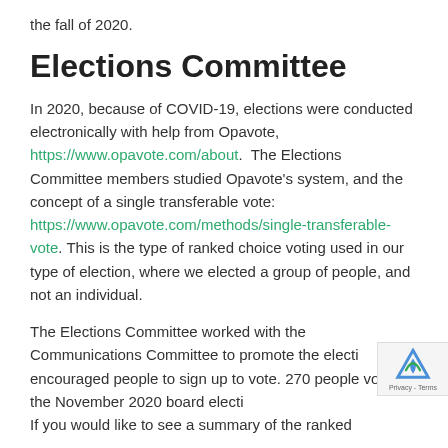the fall of 2020.
Elections Committee
In 2020, because of COVID-19, elections were conducted electronically with help from Opavote, https://www.opavote.com/about.  The Elections Committee members studied Opavote's system, and the concept of a single transferable vote: https://www.opavote.com/methods/single-transferable-vote. This is the type of ranked choice voting used in our type of election, where we elected a group of people, and not an individual.
The Elections Committee worked with the Communications Committee to promote the election and encouraged people to sign up to vote. 270 people voted in the November 2020 board election. If you would like to see a summary of the ranked